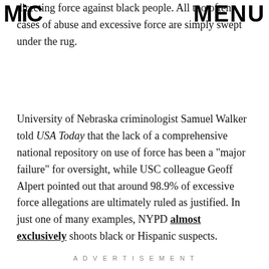MIC | MENU
directing force against black people. All too often cases of abuse and excessive force are simply swept under the rug.
University of Nebraska criminologist Samuel Walker told USA Today that the lack of a comprehensive national repository on use of force has been a "major failure" for oversight, while USC colleague Geoff Alpert pointed out that around 98.9% of excessive force allegations are ultimately ruled as justified. In just one of many examples, NYPD almost exclusively shoots black or Hispanic suspects.
ADVERTISEMENT